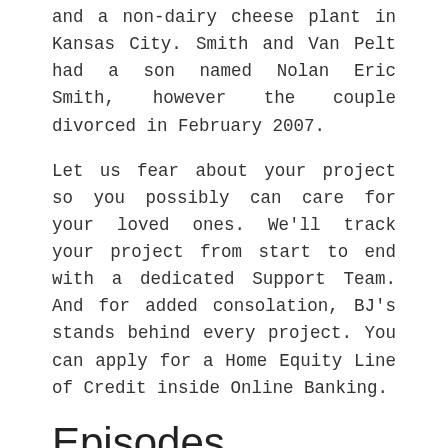and a non-dairy cheese plant in Kansas City. Smith and Van Pelt had a son named Nolan Eric Smith, however the couple divorced in February 2007.
Let us fear about your project so you possibly can care for your loved ones. We'll track your project from start to end with a dedicated Support Team. And for added consolation, BJ's stands behind every project. You can apply for a Home Equity Line of Credit inside Online Banking.
Episodes
“Homeowners sheltering in place during peak COVID laws developed a renewed interest in